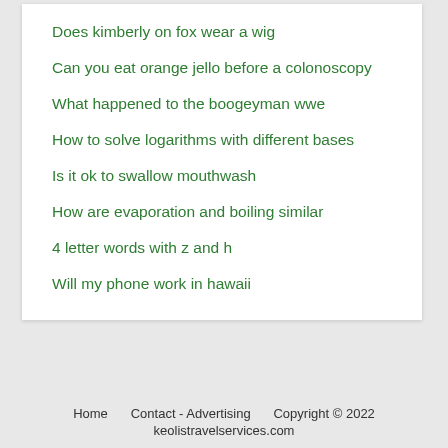Does kimberly on fox wear a wig
Can you eat orange jello before a colonoscopy
What happened to the boogeyman wwe
How to solve logarithms with different bases
Is it ok to swallow mouthwash
How are evaporation and boiling similar
4 letter words with z and h
Will my phone work in hawaii
Home   Contact - Advertising   Copyright © 2022 keolistravelservices.com